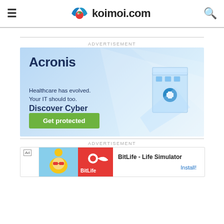koimoi.com
ADVERTISEMENT
[Figure (illustration): Acronis advertisement banner. Blue gradient background with an isometric illustration of a hospital/server building with a medical cross symbol. Text reads: Acronis. Healthcare has evolved. Your IT should too. Discover Cyber Protection. Green button: Get protected.]
ADVERTISEMENT
[Figure (illustration): BitLife - Life Simulator app advertisement banner. Shows Ad badge, colorful character illustration, BitLife logo on orange/red background, text: BitLife - Life Simulator, and Install button.]